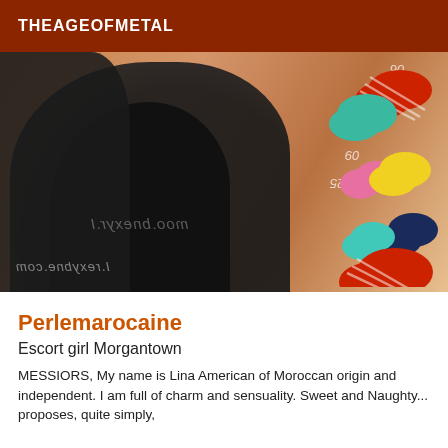THEAGEOFMETAL
[Figure (photo): Photo of a woman in black fishnet stockings and lingerie, with colorful heart and lip shapes on the right side, watermark numbers and website text overlay]
Perlemarocaine
Escort girl Morgantown
MESSIORS, My name is Lina American of Moroccan origin and independent. I am full of charm and sensuality. Sweet and Naughty... proposes, quite simply,